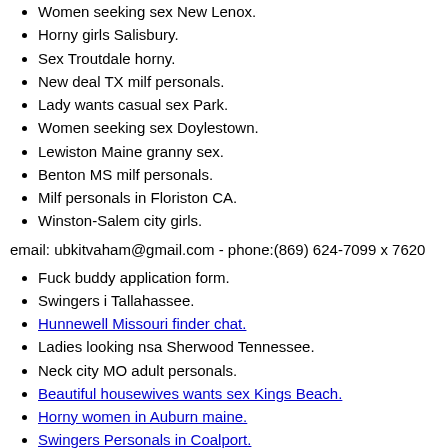Women seeking sex New Lenox.
Horny girls Salisbury.
Sex Troutdale horny.
New deal TX milf personals.
Lady wants casual sex Park.
Women seeking sex Doylestown.
Lewiston Maine granny sex.
Benton MS milf personals.
Milf personals in Floriston CA.
Winston-Salem city girls.
email: ubkitvaham@gmail.com - phone:(869) 624-7099 x 7620
Fuck buddy application form.
Swingers i Tallahassee.
Hunnewell Missouri finder chat.
Ladies looking nsa Sherwood Tennessee.
Neck city MO adult personals.
Beautiful housewives wants sex Kings Beach.
Horny women in Auburn maine.
Swingers Personals in Coalport.
San Diego live sex cam.
Beautiful couple searching sex Fort Worth Texas.
Sex clubs in milwaukee wi.
Swingers Personals in Fort wayne.